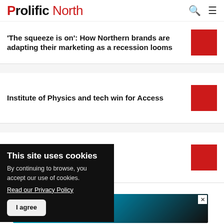Prolific North
'The squeeze is on': How Northern brands are adapting their marketing as a recession looms
Institute of Physics and tech win for Access
...kfast to celebrate Bill
This site uses cookies
By continuing to browse, you accept our use of cookies.
Read our Privacy Policy
I agree
[Figure (screenshot): Prolific North Tech event advertisement banner showing green circle with TECH logo, date 11TH SEPT 2022]